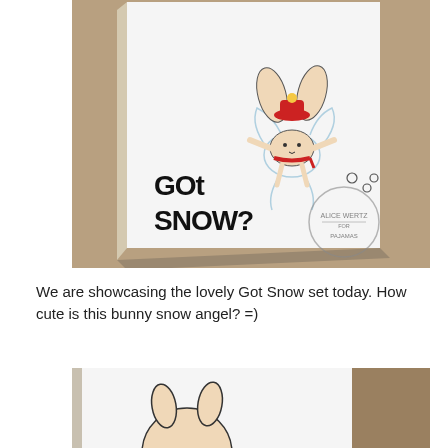[Figure (photo): A handmade greeting card standing upright showing a bunny making a snow angel. The card reads 'GOT SNOW?' in bold handwritten style lettering. The bunny character wears a red hat and scarf. A watermark reads 'ALICE WERTZ FOR PAJAMAS'. The card is photographed against a warm brown/tan background.]
We are showcasing the lovely Got Snow set today. How cute is this bunny snow angel? =)
[Figure (photo): Partial bottom photo showing a close-up of another handmade card with a round bunny character, partially cropped at the bottom of the page.]